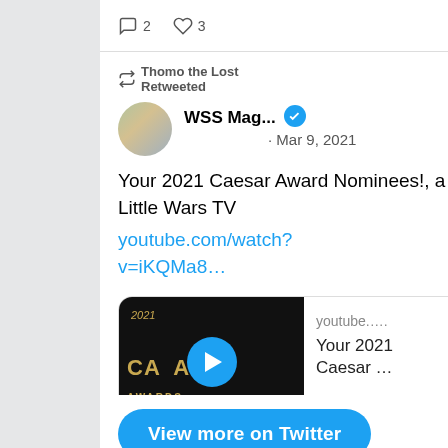2   3
Thomo the Lost Retweeted
WSS Mag...  · Mar 9, 2021
Your 2021 Caesar Award Nominees!, a new video by Little Wars TV
youtube.com/watch?v=iKQMa8...
[Figure (screenshot): YouTube video preview card showing '2021 Caesar Awards' thumbnail with play button and text 'youtube..... Your 2021 Caesar ...']
5
View more on Twitter